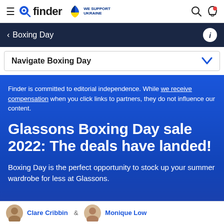finder — WE SUPPORT UKRAINE
Boxing Day
Navigate Boxing Day
Finder is committed to editorial independence. While we receive compensation when you click links to partners, they do not influence our content.
Glassons Boxing Day sale 2022: The deals have landed!
Boxing Day is the perfect opportunity to stock up your summer wardrobe for less at Glassons.
Clare Cribbin & Monique Low